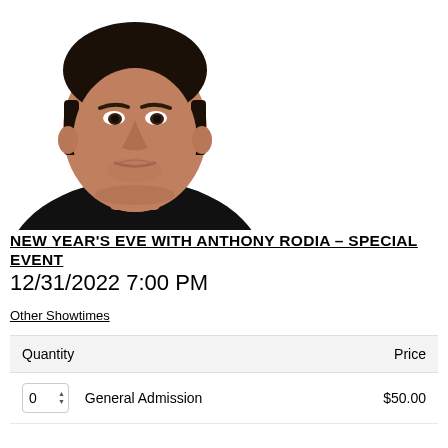[Figure (photo): Headshot of Anthony Rodia, a man with dark hair wearing a black shirt, photographed against a white background]
NEW YEAR'S EVE WITH ANTHONY RODIA – SPECIAL EVENT
12/31/2022 7:00 PM
Other Showtimes
| Quantity | Price |
| --- | --- |
| 0  General Admission | $50.00 |